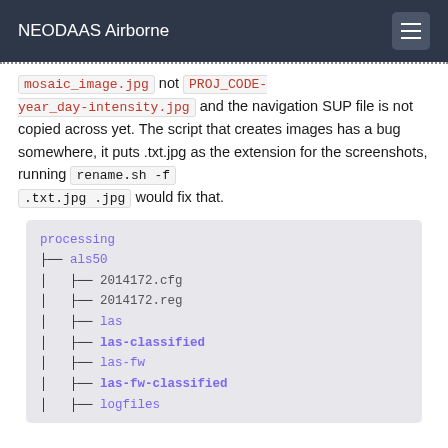NEODAAS Airborne
mosaic_image.jpg not PROJ_CODE-year_day-intensity.jpg and the navigation SUP file is not copied across yet. The script that creates images has a bug somewhere, it puts .txt.jpg as the extension for the screenshots, running rename.sh -f .txt.jpg .jpg would fix that.
[Figure (other): Directory tree showing processing/als50 with children: 2014172.cfg, 2014172.reg, las, las-classified (bold), las-fw, las-fw-classified (bold), logfiles]